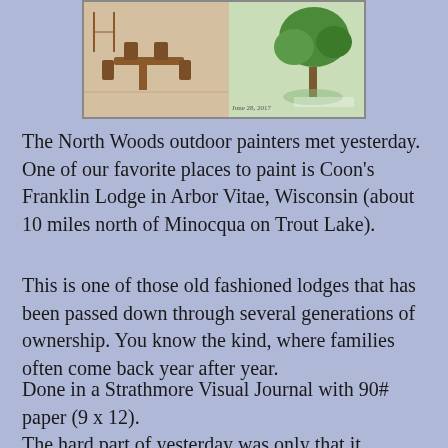[Figure (illustration): Watercolor sketch of Coon's Franklin Lodge showing interior dining area with wooden furniture on the left and an outdoor garden/tree scene on the right, painted in a visual journal style. Artist signature and date visible at bottom right.]
The North Woods outdoor painters met yesterday.  One of our favorite places to paint is Coon's Franklin Lodge in Arbor Vitae, Wisconsin (about 10 miles north of Minocqua on Trout Lake).
This is one of those old fashioned lodges that has been passed down through several generations of ownership.  You know the kind, where families often come back year after year.
Done in a Strathmore Visual Journal with 90# paper (9 x 12).
The hard part of yesterday was only that it RAINED all day AGAIN.  Normally that would put the kibosh on any painting as we often choose places with no cover.  The the lodge has many covered walkways and is generously